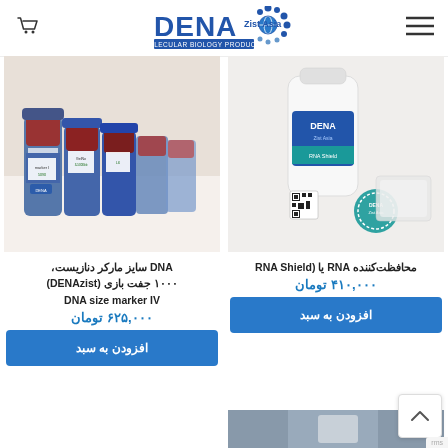[Figure (logo): DENA Zist Asia Molecular Biology Products logo with dotted circle globe motif]
[Figure (photo): Photo of multiple small vials/tubes with dark red liquid and DENA Zist Asia labels, DNA size marker products]
[Figure (photo): Photo of a white bottle labeled DENA with teal label and small accessory packets, RNA Shield product]
DNA سایز مارکر دنازیست، ۱۰۰۰ جفت بازی (DENAzist) DNA size marker IV
۶۲۵,۰۰۰ تومان
افزودن به سبد
محافظت‌کننده RNA یا (RNA Shield
۴۱۰,۰۰۰ تومان
افزودن به سبد